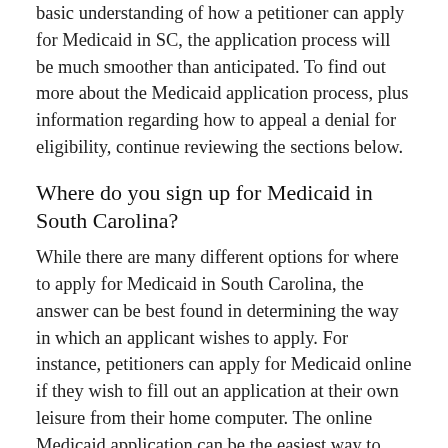basic understanding of how a petitioner can apply for Medicaid in SC, the application process will be much smoother than anticipated. To find out more about the Medicaid application process, plus information regarding how to appeal a denial for eligibility, continue reviewing the sections below.
Where do you sign up for Medicaid in South Carolina?
While there are many different options for where to apply for Medicaid in South Carolina, the answer can be best found in determining the way in which an applicant wishes to apply. For instance, petitioners can apply for Medicaid online if they wish to fill out an application at their own leisure from their home computer. The online Medicaid application can be the easiest way to apply for Medicaid benefits. Completing a Medicaid application online allows petitioners the chance to create an account so that they may log in and out to complete the process on their own terms. Applying for Medicaid online in SC is a popular choice for